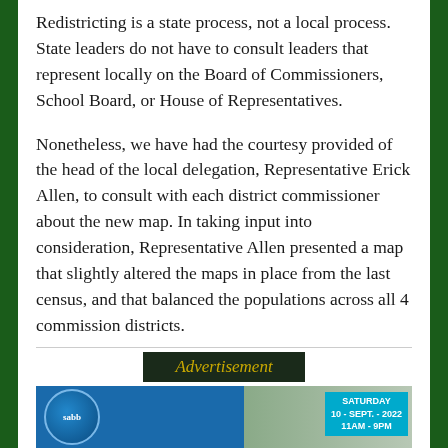Redistricting is a state process, not a local process. State leaders do not have to consult leaders that represent locally on the Board of Commissioners, School Board, or House of Representatives.
Nonetheless, we have had the courtesy provided of the head of the local delegation, Representative Erick Allen, to consult with each district commissioner about the new map. In taking input into consideration, Representative Allen presented a map that slightly altered the maps in place from the last census, and that balanced the populations across all 4 commission districts.
Advertisement
[Figure (photo): Advertisement banner image with blue section containing circular logo on left and outdoor/landscape scene on right with event box reading SATURDAY 10 - SEPT. - 2022 11AM - 9PM]